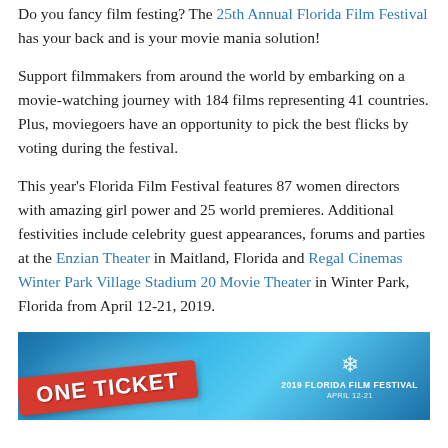Do you fancy film festing? The 25th Annual Florida Film Festival has your back and is your movie mania solution!
Support filmmakers from around the world by embarking on a movie-watching journey with 184 films representing 41 countries. Plus, moviegoers have an opportunity to pick the best flicks by voting during the festival.
This year’s Florida Film Festival features 87 women directors with amazing girl power and 25 world premieres. Additional festivities include celebrity guest appearances, forums and parties at the Enzian Theater in Maitland, Florida and Regal Cinemas Winter Park Village Stadium 20 Movie Theater in Winter Park, Florida from April 12-21, 2019.
[Figure (photo): Promotional image for the 2019 Florida Film Festival showing a red 'ONE TICKET' sign and the festival logo with snowflake design, April 12-21, on a blue background.]